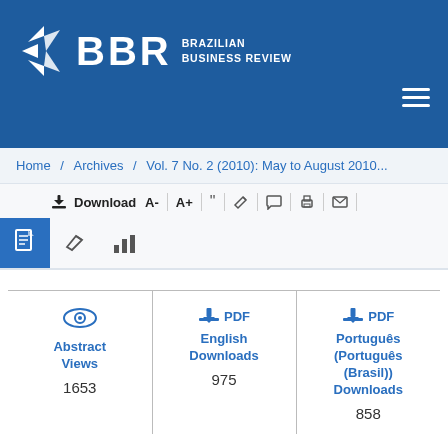[Figure (logo): BBR Brazilian Business Review logo with blue background and white star/arrow icon]
Home / Archives / Vol. 7 No. 2 (2010): May to August 2010...
Download A- A+ “” edit comment print email
| Abstract Views | PDF English Downloads | PDF Português (Português (Brasil)) Downloads |
| --- | --- | --- |
| 1653 | 975 | 858 |